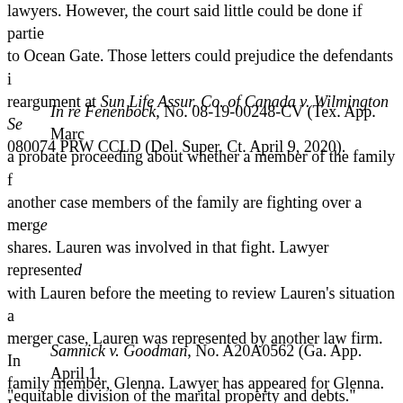arquably South in this fact. In this opinion he will not g lawyers. However, the court said little could be done if partie to Ocean Gate. Those letters could prejudice the defendants i reargument at Sun Life Assur. Co. of Canada v. Wilmington Se 080074 PRW CCLD (Del. Super. Ct. April 9, 2020).
In re Fenenbock, No. 08-19-00248-CV (Tex. App. Marc a probate proceeding about whether a member of the family f another case members of the family are fighting over a merge shares. Lauren was involved in that fight. Lawyer represented with Lauren before the meeting to review Lauren's situation a merger case, Lauren was represented by another law firm. In family member, Glenna. Lawyer has appeared for Glenna. La probate case. The trial court denied the motion. Lauren sough granted mandamus (reversed). In a highly fact-specific analys Lauren in the merger case was substantially related to this pr problem was that initially Lauren was not a party to the merg filing a third-party action against her.
Samnick v. Goodman, No. A20A0562 (Ga. App. April 1, "equitable division of the marital property and debts." Lawye Lawyer. The trial court granted the motion. In this opinion th